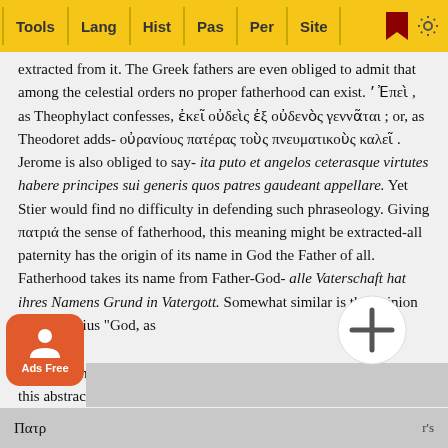Tools | Lang | Hist | Pas | Per | Site
extracted from it. The Greek fathers are even obliged to admit that among the celestial orders no proper fatherhood can exist. ʼΕπεὶ , as Theophylact confesses, ἐκεῖ οὐδεὶς ἐξ οὐδενὸς γεννᾶται ; or, as Theodoret adds- οὐρανίους πατέρας τοὺς πνευματικοὺς καλεῖ . Jerome is also obliged to say- ita puto et angelos ceterasque virtutes habere principes sui generis quos patres gaudeant appellare. Yet Stier would find no difficulty in defending such phraseology. Giving πατριά the sense of fatherhood, this meaning might be extracted-all paternity has the origin of its name in God the Father of all. Fatherhood takes its name from Father-God- alle Vaterschaft hat ihres Namens Grund in Vatergott. Somewhat similar is the opinion of Athanasius “God, as [Fath]er of the Son, is the only true Father, and all creat[urely pate]rnity is a shadow of the true.” Orat. in Arian. 1.24. But an idea of this abstract nature is foreign to the apostle's modes of tho[ught]
Πατρ[ια]                                                                    r's